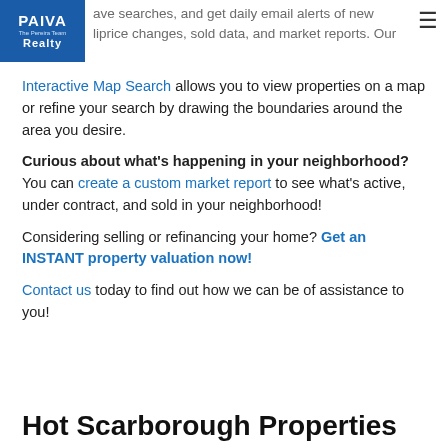PAIVA The Pereira Team Realty — save searches, and get daily email alerts of new listings, price changes, sold data, and market reports.
Interactive Map Search allows you to view properties on a map or refine your search by drawing the boundaries around the area you desire.
Curious about what's happening in your neighborhood? You can create a custom market report to see what's active, under contract, and sold in your neighborhood!
Considering selling or refinancing your home? Get an INSTANT property valuation now!
Contact us today to find out how we can be of assistance to you!
Hot Scarborough Properties